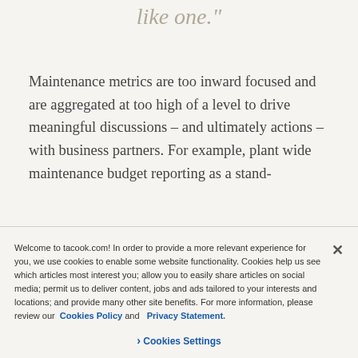like one."
Maintenance metrics are too inward focused and are aggregated at too high of a level to drive meaningful discussions – and ultimately actions – with business partners. For example, plant wide maintenance budget reporting as a stand-
Welcome to tacook.com! In order to provide a more relevant experience for you, we use cookies to enable some website functionality. Cookies help us see which articles most interest you; allow you to easily share articles on social media; permit us to deliver content, jobs and ads tailored to your interests and locations; and provide many other site benefits. For more information, please review our Cookies Policy and Privacy Statement.
❯ Cookies Settings